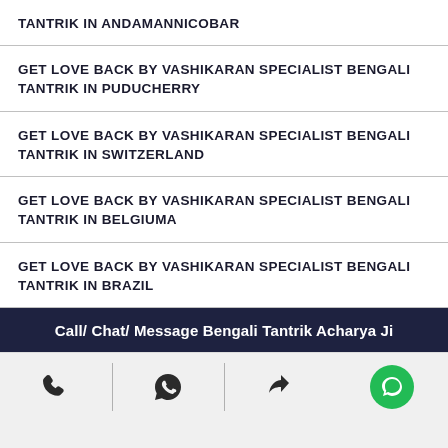TANTRIK IN ANDAMANNICOBAR
GET LOVE BACK BY VASHIKARAN SPECIALIST BENGALI TANTRIK IN PUDUCHERRY
GET LOVE BACK BY VASHIKARAN SPECIALIST BENGALI TANTRIK IN SWITZERLAND
GET LOVE BACK BY VASHIKARAN SPECIALIST BENGALI TANTRIK IN BELGIUMA
GET LOVE BACK BY VASHIKARAN SPECIALIST BENGALI TANTRIK IN BRAZIL
Call/ Chat/ Message Bengali Tantrik Acharya Ji